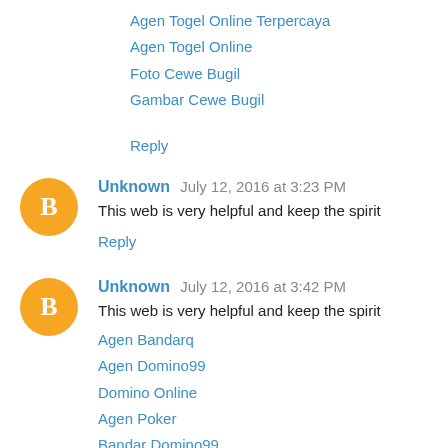Agen Togel Online Terpercaya
Agen Togel Online
Foto Cewe Bugil
Gambar Cewe Bugil
Reply
Unknown  July 12, 2016 at 3:23 PM
This web is very helpful and keep the spirit
Reply
Unknown  July 12, 2016 at 3:42 PM
This web is very helpful and keep the spirit
Agen Bandarq
Agen Domino99
Domino Online
Agen Poker
Bandar Domino99